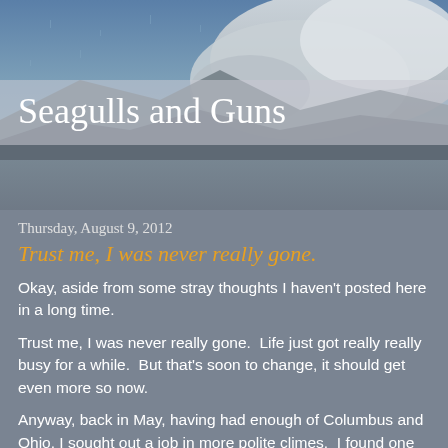[Figure (photo): Background photo of stormy sky and clouds, blue-grey tones, dramatic atmospheric scene]
Seagulls and Guns
Thursday, August 9, 2012
Trust me, I was never really gone.
Okay, aside from some stray thoughts I haven't posted here in a long time.
Trust me, I was never really gone.  Life just got really really busy for a while.  But that's soon to change, it should get even more so now.
Anyway, back in May, having had enough of Columbus and Ohio. I sought out a job in more polite climes.  I found one in Dallas fairly quickly and that's the short answer.
I'm a captain on a Falcon now.